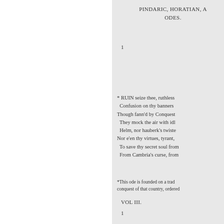PINDARIC, HORATIAN, A ODES.
1
* RUIN seize thee, ruthless
Confusion on thy banners
Though fann'd by Conquest
They mock the air with idl
Helm, nor hauberk's twiste
Nor e'en thy virtues, tyrant,
To save thy secret soul from
From Cambria's curse, from
*This ode is founded on a trad conquest of that country, ordered
VOL III.
1